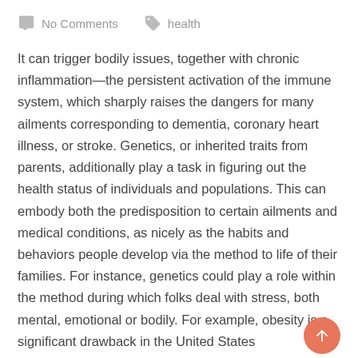No Comments   health
It can trigger bodily issues, together with chronic inflammation—the persistent activation of the immune system, which sharply raises the dangers for many ailments corresponding to dementia, coronary heart illness, or stroke. Genetics, or inherited traits from parents, additionally play a task in figuring out the health status of individuals and populations. This can embody both the predisposition to certain ailments and medical conditions, as nicely as the habits and behaviors people develop via the method to life of their families. For instance, genetics could play a role within the method during which folks deal with stress, both mental, emotional or bodily. For example, obesity is a significant drawback in the United States